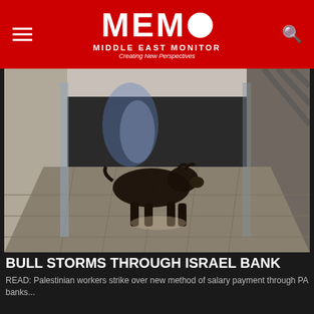MEMO MIDDLE EAST MONITOR Creating New Perspectives
[Figure (photo): A bull running through the corridor of a modern bank interior with glass partitions and tiled floor]
BULL STORMS THROUGH ISRAEL BANK
READ: Palestinian workers strike over new method of salary payment through PA banks...
[Figure (photo): Two men in suits shaking hands, UAE diplomatic scene]
News
UAE returns envoy to Iran, 6 years after...
[Figure (photo): Wizz Air airplane on tarmac]
Wizz Air suspends relaunch of